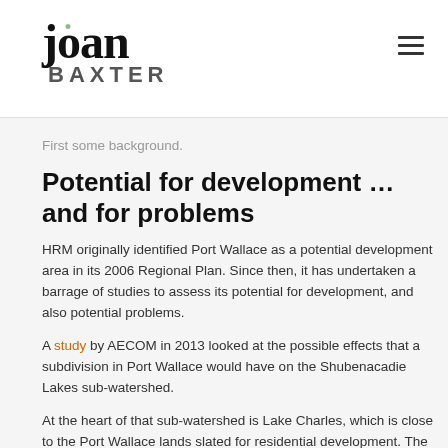joan BAXTER
First some background.
Potential for development … and for problems
HRM originally identified Port Wallace as a potential development area in its 2006 Regional Plan. Since then, it has undertaken a barrage of studies to assess its potential for development, and also potential problems.
A study by AECOM in 2013 looked at the possible effects that a subdivision in Port Wallace would have on the Shubenacadie Lakes sub-watershed.
At the heart of that sub-watershed is Lake Charles, which is close to the Port Wallace lands slated for residential development. The AECOM report noted that Lake Charles is particularly important in